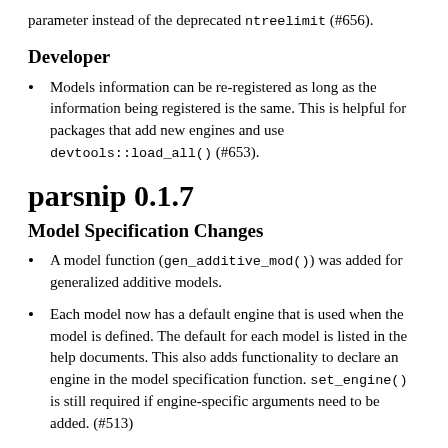parameter instead of the deprecated ntreelimit (#656).
Developer
Models information can be re-registered as long as the information being registered is the same. This is helpful for packages that add new engines and use devtools::load_all() (#653).
parsnip 0.1.7
Model Specification Changes
A model function (gen_additive_mod()) was added for generalized additive models.
Each model now has a default engine that is used when the model is defined. The default for each model is listed in the help documents. This also adds functionality to declare an engine in the model specification function. set_engine() is still required if engine-specific arguments need to be added. (#513)